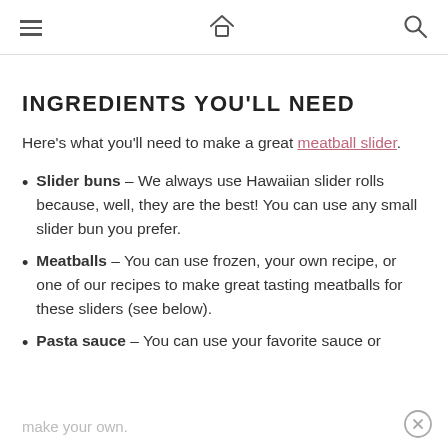Navigation bar with menu, home, and search icons
INGREDIENTS YOU'LL NEED
Here's what you'll need to make a great meatball slider.
Slider buns – We always use Hawaiian slider rolls because, well, they are the best! You can use any small slider bun you prefer.
Meatballs – You can use frozen, your own recipe, or one of our recipes to make great tasting meatballs for these sliders (see below).
Pasta sauce – You can use your favorite sauce or make your own.